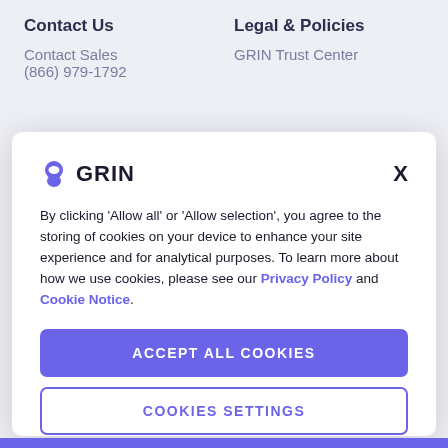Contact Us
Contact Sales
(866) 979-1792
Legal & Policies
GRIN Trust Center
[Figure (logo): GRIN logo with purple smiley icon and bold GRIN text]
By clicking 'Allow all' or 'Allow selection', you agree to the storing of cookies on your device to enhance your site experience and for analytical purposes. To learn more about how we use cookies, please see our Privacy Policy and Cookie Notice.
ACCEPT ALL COOKIES
COOKIES SETTINGS